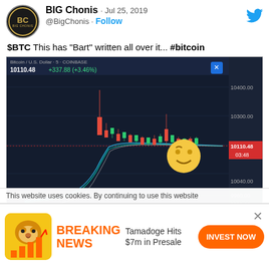BIG Chonis · Jul 25, 2019
@BigChonis · Follow
$BTC This has "Bart" written all over it... #bitcoin
[Figure (screenshot): Bitcoin/U.S. Dollar candlestick chart from Coinbase showing price around 10110.48, up +337.88 (+3.46%). Price range approximately 9850 to 10400. A smirking face emoji overlaid on chart. Current price label 10110.48 highlighted in red, time 03:48.]
This website uses cookies. By continuing to use this website
BREAKING NEWS  Tamadoge Hits $7m in Presale  INVEST NOW